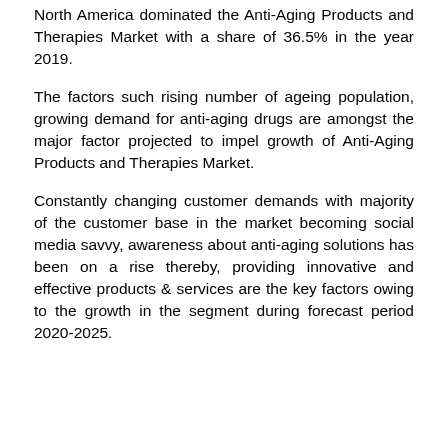North America dominated the Anti-Aging Products and Therapies Market with a share of 36.5% in the year 2019.
The factors such rising number of ageing population, growing demand for anti-aging drugs are amongst the major factor projected to impel growth of Anti-Aging Products and Therapies Market.
Constantly changing customer demands with majority of the customer base in the market becoming social media savvy, awareness about anti-aging solutions has been on a rise thereby, providing innovative and effective products & services are the key factors owing to the growth in the segment during forecast period 2020-2025.